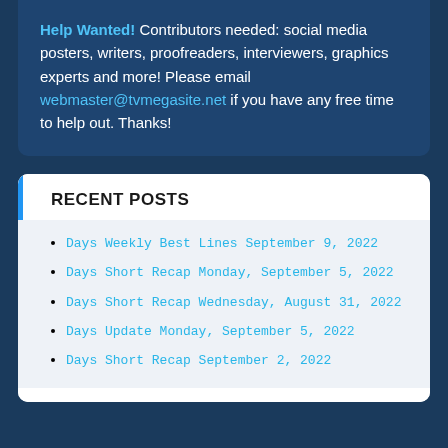Help Wanted! Contributors needed: social media posters, writers, proofreaders, interviewers, graphics experts and more!  Please email webmaster@tvmegasite.net if you have any free time to help out. Thanks!
RECENT POSTS
Days Weekly Best Lines September 9, 2022
Days Short Recap Monday, September 5, 2022
Days Short Recap Wednesday, August 31, 2022
Days Update Monday, September 5, 2022
Days Short Recap September 2, 2022